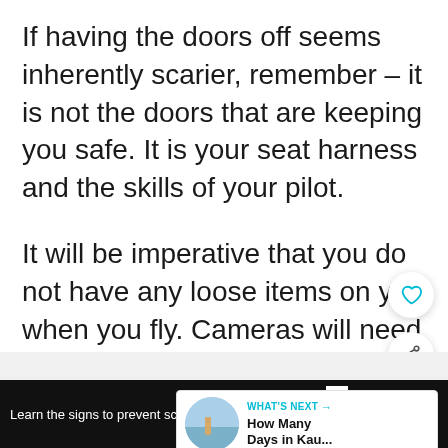If having the doors off seems inherently scarier, remember – it is not the doors that are keeping you safe. It is your seat harness and the skills of your pilot.
It will be imperative that you do not have any loose items on you when you fly. Cameras will need to be strapped to your body.
We opted for the private, doors-off tour
[Figure (screenshot): WHAT'S NEXT card with thumbnail image linking to 'How Many Days in Kau...']
[Figure (screenshot): Advertisement bar: Learn the signs to prevent school shootings. Sandy Hook Promise logo and brand logo.]